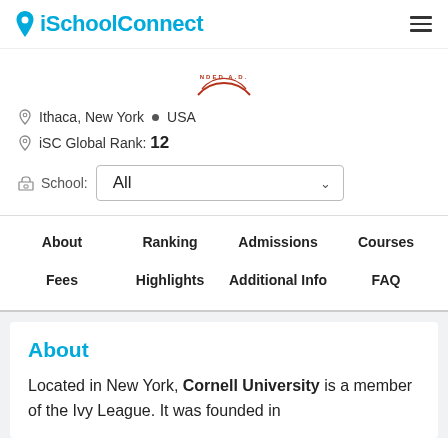iSchoolConnect
[Figure (logo): Partial Cornell University circular stamp/seal logo in red]
Ithaca, New York • USA
iSC Global Rank: 12
School: All
About  Ranking  Admissions  Courses  Fees  Highlights  Additional Info  FAQ
About
Located in New York, Cornell University is a member of the Ivy League. It was founded in